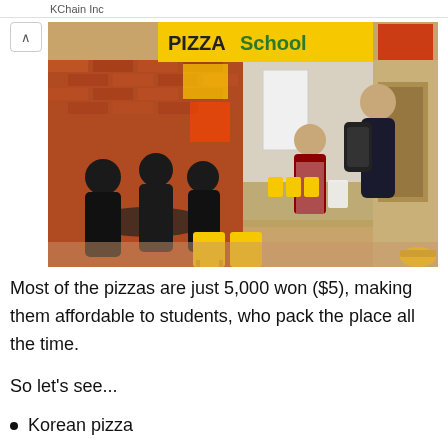KChain Inc
[Figure (photo): Interior of a Pizza School fast food restaurant in Korea. Students in school uniforms are seated at tables with yellow chairs eating pizza. A staff member in a red apron serves a customer with a backpack near the counter. Brick walls, yellow signage reading 'PIZZA School', and food advertisements are visible.]
Most of the pizzas are just 5,000 won ($5), making them affordable to students, who pack the place all the time.
So let's see...
Korean pizza